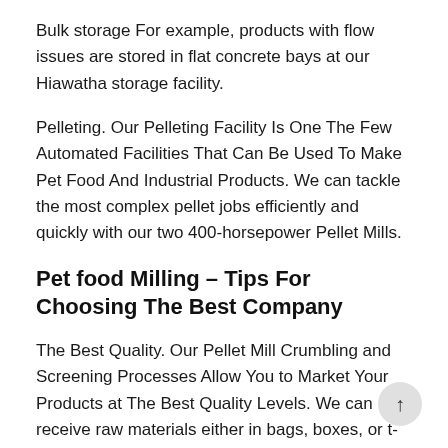Bulk storage For example, products with flow issues are stored in flat concrete bays at our Hiawatha storage facility.
Pelleting. Our Pelleting Facility Is One The Few Automated Facilities That Can Be Used To Make Pet Food And Industrial Products. We can tackle the most complex pellet jobs efficiently and quickly with our two 400-horsepower Pellet Mills.
Pet food Milling – Tips For Choosing The Best Company
The Best Quality. Our Pellet Mill Crumbling and Screening Processes Allow You to Market Your Products at The Best Quality Levels. We can receive raw materials either in bags, boxes, or t-shirts. We also ship the resulting pellets and crumbs out in bags, bags or t-shirts. We can convert th